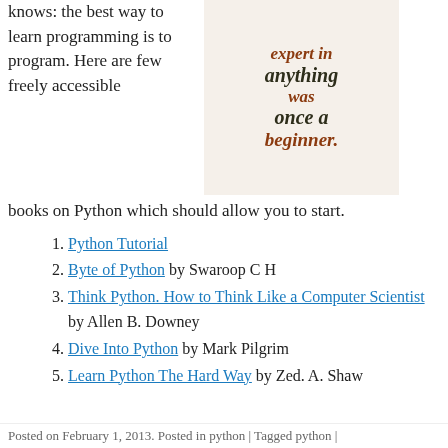knows: the best way to learn programming is to program. Here are few freely accessible books on Python which should allow you to start.
[Figure (illustration): Book cover with text: 'expert in anything was once a beginner.' in brown/dark serif italic lettering on a light background.]
Python Tutorial
Byte of Python by Swaroop C H
Think Python. How to Think Like a Computer Scientist by Allen B. Downey
Dive Into Python by Mark Pilgrim
Learn Python The Hard Way by Zed. A. Shaw
Posted on February 1, 2013. Posted in python | Tagged python |